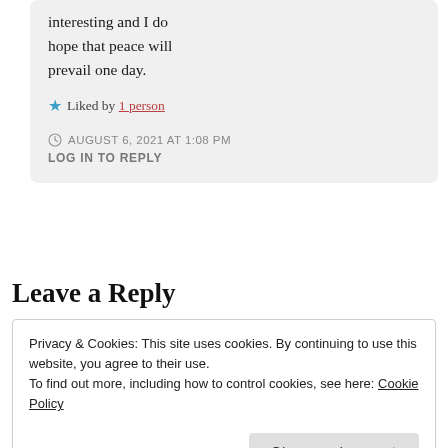interesting and I do hope that peace will prevail one day.
★ Liked by 1 person
AUGUST 6, 2021 AT 1:08 PM LOG IN TO REPLY
Leave a Reply
Privacy & Cookies: This site uses cookies. By continuing to use this website, you agree to their use. To find out more, including how to control cookies, see here: Cookie Policy Close and accept